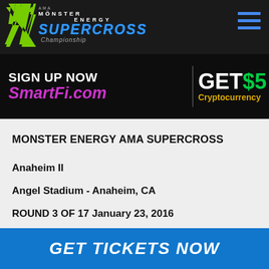MONSTER ENERGY AMA SUPERCROSS Championship
[Figure (screenshot): Advertisement banner: SIGN UP NOW SmartFi.com | GET $5 Cryptocurrency]
MONSTER ENERGY AMA SUPERCROSS
Anaheim II
Angel Stadium - Anaheim, CA
ROUND 3 OF 17 January 23, 2016
GET TICKETS NOW